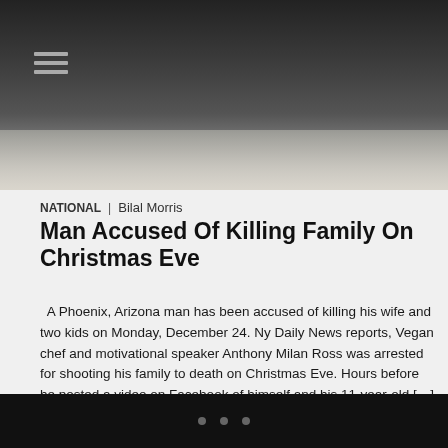[Figure (photo): Dark photo of a person in a white shirt, mostly obscured by a dark overlay or shadow. A hamburger menu icon is visible in the top-left corner.]
NATIONAL | Bilal Morris
Man Accused Of Killing Family On Christmas Eve
A Phoenix, Arizona man has been accused of killing his wife and two kids on Monday, December 24. Ny Daily News reports, Vegan chef and motivational speaker Anthony Milan Ross was arrested for shooting his family to death on Christmas Eve. Hours before he posted a video on Facebook of himself and his 11-year-old […]
« Previous  1  …  1,193  1,194  1,195  1,196  1,197  …  1,249  Next »